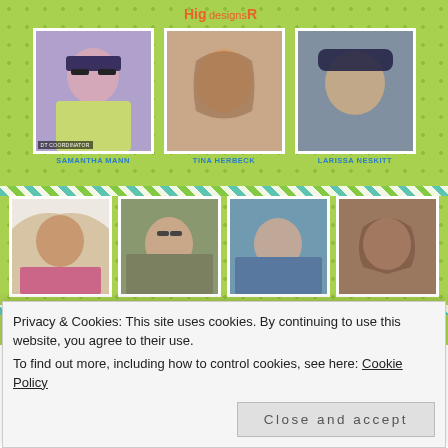[Figure (photo): Design team photo grid showing 11 people: Samantha Mann (DT Coordinator), Tina Herbeck, Larissa Neskitt in row 1; Farhana Sarker, Samantha VanArnhem, Amanda Wilcox, Maria Russell in row 2; and 4 more in row 3 (one labeled Video Contributer), on a lime-green polka-dot background with a logo at top]
Privacy & Cookies: This site uses cookies. By continuing to use this website, you agree to their use.
To find out more, including how to control cookies, see here: Cookie Policy
Close and accept